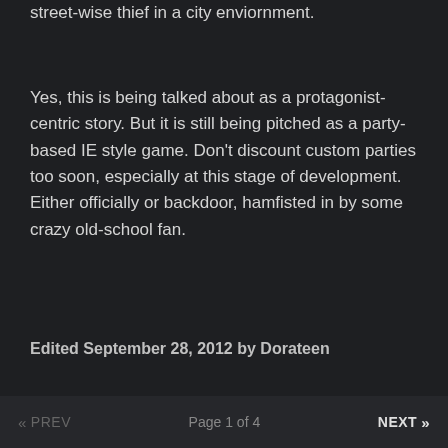street-wise thief in a city enviornment.
Yes, this is being talked about as a protagonist-centric story. But it is still being pitched as a party-based IE style game. Don't discount custom parties too soon, especially at this stage of development. Either officially or backdoor, hamfisted in by some crazy old-school fan.
Edited September 28, 2012 by Dorateen
« PREV   Page 1 of 4   NEXT »